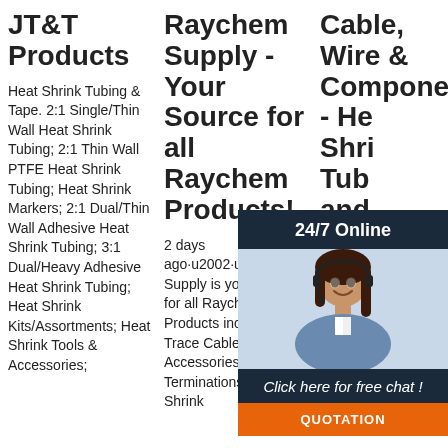JT&T Products
Raychem Supply - Your Source for all Raychem Products!
Cable, Wire & Components - Heat Shrink Tubing and
Heat Shrink Tubing & Tape. 2:1 Single/Thin Wall Heat Shrink Tubing; 2:1 Thin Wall PTFE Heat Shrink Tubing; Heat Shrink Markers; 2:1 Dual/Thin Wall Adhesive Heat Shrink Tubing; 3:1 Dual/Heavy Adhesive Heat Shrink Tubing; Heat Shrink Kits/Assortments; Heat Shrink Tools & Accessories;
2 days ago·u2002·u2002Raychem Supply is your source for all Raychem Products including Heat Trace Cables and Accessories, Cable Terminations, Heat Shrink
We also strand for a va electrio electronic and ignition purposes. If you have any questions about product specifications and the suitability for a
[Figure (photo): Customer service representative woman with headset smiling, shown in a dark-themed chat widget with '24/7 Online' header, 'Click here for free chat!' text, and orange QUOTATION button]
[Figure (logo): TOP badge/logo in orange and dark colors, circular design with dots]